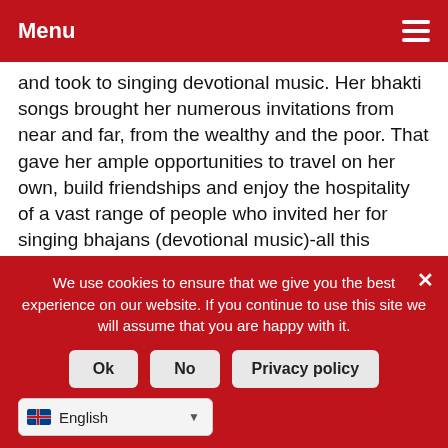Menu
and took to singing devotional music. Her bhakti songs brought her numerous invitations from near and far, from the wealthy and the poor. That gave her ample opportunities to travel on her own, build friendships and enjoy the hospitality of a vast range of people who invited her for singing bhajans (devotional music)-all this without invoking any social stigma. The whole family understood that her bhakti was in response to an oppressive marriage, but she did not suffer the censure she would have, had she followed the same free and
We use cookies to ensure that we give you the best experience on our website. If you continue to use this site we will assume that you are happy with it.